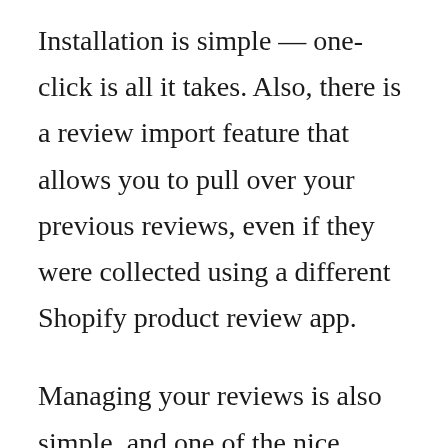Installation is simple — one-click is all it takes. Also, there is a review import feature that allows you to pull over your previous reviews, even if they were collected using a different Shopify product review app.
Managing your reviews is also simple, and one of the nice features is the ability to reply to negative reviews. You can either respond publicly or privately. Not all reviews are going to be 5-star and positive experiences